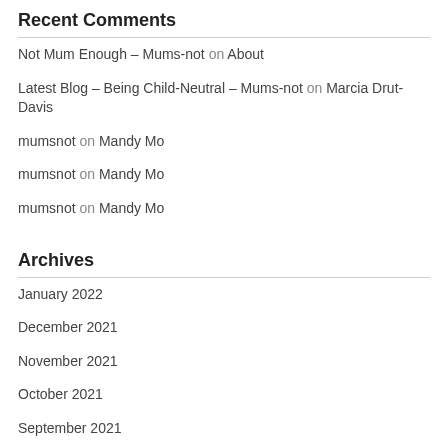Recent Comments
Not Mum Enough – Mums-not on About
Latest Blog – Being Child-Neutral – Mums-not on Marcia Drut-Davis
mumsnot on Mandy Mo
mumsnot on Mandy Mo
mumsnot on Mandy Mo
Archives
January 2022
December 2021
November 2021
October 2021
September 2021
August 2021